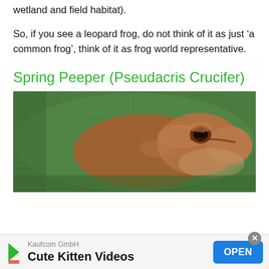wetland and field habitat).
So, if you see a leopard frog, do not think of it as just ‘a common frog’, think of it as frog world representative.
Spring Peeper (Pseudacris Crucifer)
[Figure (photo): Close-up photo of a Spring Peeper frog (small brown frog) resting on a large green leaf]
Kaufcom GmbH
Cute Kitten Videos
OPEN